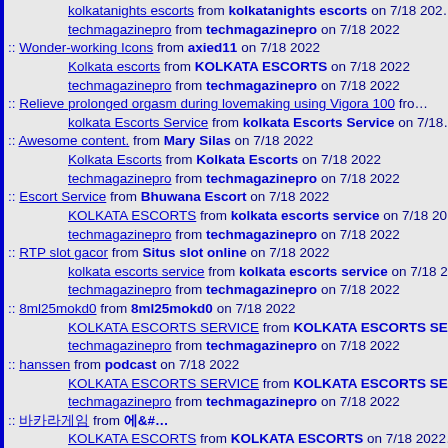kolkatanights escorts from kolkatanights escorts on 7/18 2022
techmagazinepro from techmagazinepro on 7/18 2022
:: Wonder-working Icons from axied11 on 7/18 2022
Kolkata escorts from KOLKATA ESCORTS on 7/18 2022
techmagazinepro from techmagazinepro on 7/18 2022
:: Relieve prolonged orgasm during lovemaking using Vigora 100 from...
kolkata Escorts Service from kolkata Escorts Service on 7/18...
:: Awesome content. from Mary Silas on 7/18 2022
Kolkata Escorts from Kolkata Escorts on 7/18 2022
techmagazinepro from techmagazinepro on 7/18 2022
:: Escort Service from Bhuwana Escort on 7/18 2022
KOLKATA ESCORTS from kolkata escorts service on 7/18 20...
techmagazinepro from techmagazinepro on 7/18 2022
:: RTP slot gacor from Situs slot online on 7/18 2022
kolkata escorts service from kolkata escorts service on 7/18 2...
techmagazinepro from techmagazinepro on 7/18 2022
:: 8ml25mokd0 from 8ml25mokd0 on 7/18 2022
KOLKATA ESCORTS SERVICE from KOLKATA ESCORTS SE...
techmagazinepro from techmagazinepro on 7/18 2022
:: hanssen from podcast on 7/18 2022
KOLKATA ESCORTS SERVICE from KOLKATA ESCORTS SE...
techmagazinepro from techmagazinepro on 7/18 2022
:: &#48148;&#52852;&#46972;&#44172;&#51076; from &#50640;&# ...
KOLKATA ESCORTS from KOLKATA ESCORTS on 7/18 2022...
techmagazinepro from techmagazinepro on 7/18 2022
:: Thnaks from The Seven Sister on 7/18 2022
KOLKATA ESCORTS SERVICE from KOLKATA ESCORTS SE...
techmagazinepro from techmagazinepro on 7/18 2022
:: Escorts in Lahore 03001229299 Erotic Call Girls in Lahore from ca...
KOLKATAESCORTS SERVICE from KOLKATAESCORTS SE...